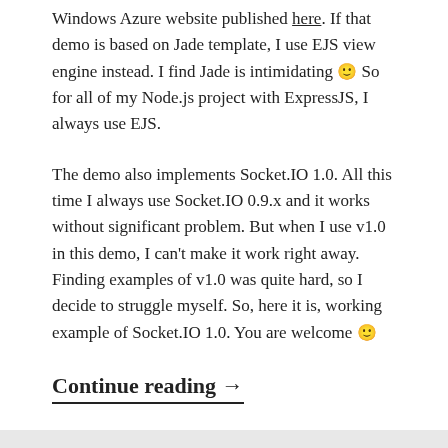Windows Azure website published here. If that demo is based on Jade template, I use EJS view engine instead. I find Jade is intimidating 🙂 So for all of my Node.js project with ExpressJS, I always use EJS.
The demo also implements Socket.IO 1.0. All this time I always use Socket.IO 0.9.x and it works without significant problem. But when I use v1.0 in this demo, I can't make it work right away. Finding examples of v1.0 was quite hard, so I decide to struggle myself. So, here it is, working example of Socket.IO 1.0. You are welcome 🙂
Continue reading →